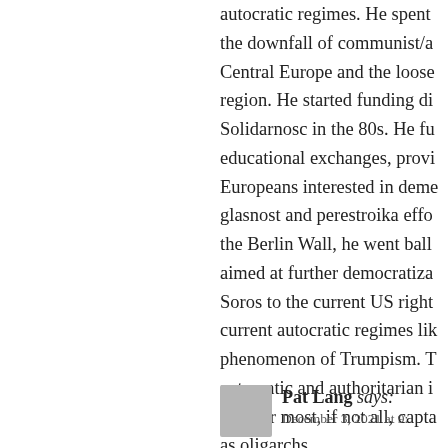autocratic regimes. He spent the downfall of communist/a Central Europe and the loose region. He started funding di Solidarnosc in the 80s. He fu educational exchanges, provi Europeans interested in deme glasnost and perestroika effo the Berlin Wall, he went ball aimed at further democratiza Soros to the current US right current autocratic regimes li phenomenon of Trumpism. T autocratic and authoritarian i said for most, if not all, capta as oligarchs.
Pat Lang says: December 3, 2021 at 9: